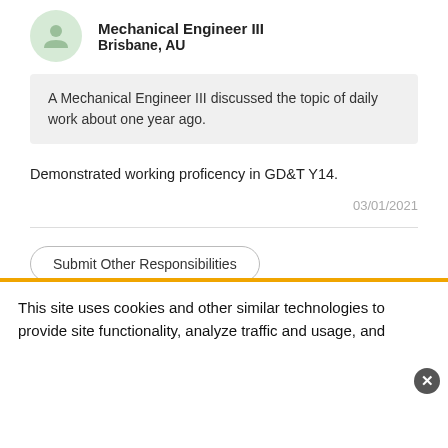Mechanical Engineer III
Brisbane, AU
A Mechanical Engineer III discussed the topic of daily work about one year ago.
Demonstrated working proficency in GD&T Y14.
03/01/2021
Submit Other Responsibilities
This site uses cookies and other similar technologies to provide site functionality, analyze traffic and usage, and